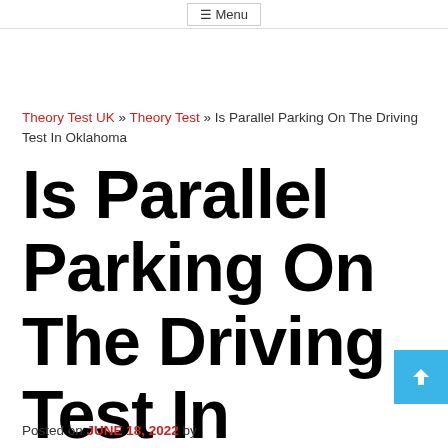≡ Menu
Theory Test UK » Theory Test » Is Parallel Parking On The Driving Test In Oklahoma
Is Parallel Parking On The Driving Test In Oklahoma
Posted on JUNE 18, 2022 by